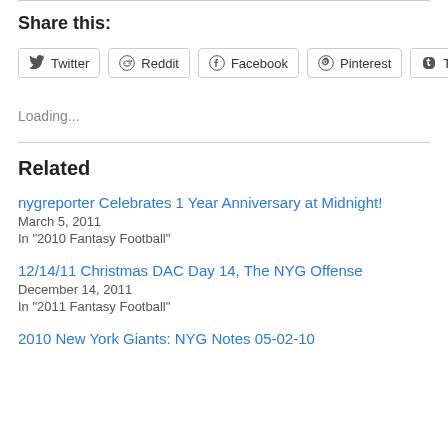Share this:
Twitter  Reddit  Facebook  Pinterest  Tumblr
Loading...
Related
nygreporter Celebrates 1 Year Anniversary at Midnight!
March 5, 2011
In "2010 Fantasy Football"
12/14/11 Christmas DAC Day 14, The NYG Offense
December 14, 2011
In "2011 Fantasy Football"
2010 New York Giants: NYG Notes 05-02-10